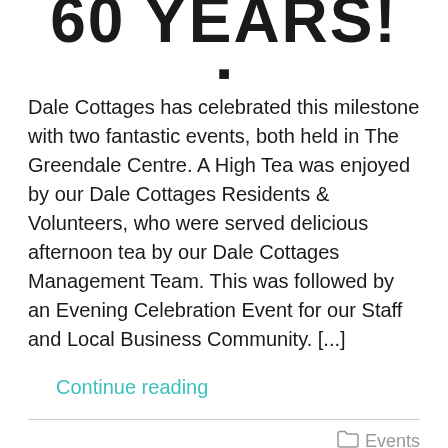60 YEARS!
Dale Cottages has celebrated this milestone with two fantastic events, both held in The Greendale Centre. A High Tea was enjoyed by our Dale Cottages Residents & Volunteers, who were served delicious afternoon tea by our Dale Cottages Management Team. This was followed by an Evening Celebration Event for our Staff and Local Business Community. [...]
Continue reading
Events